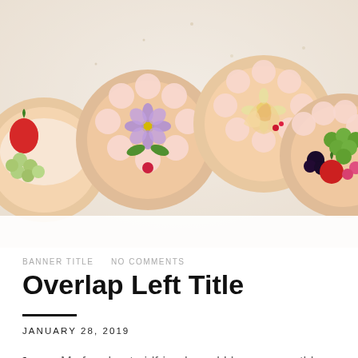[Figure (photo): Overhead photo of decorative pastry tarts topped with fresh fruits (strawberries, grapes, blackberries, apple slices) and flowers (purple daisy, pink blossoms) on a light background.]
BANNER TITLE   NO COMMENTS
Overlap Left Title
JANUARY 28, 2019
My four best girlfriends and I keep a monthly afternoon coffee and cakes date. When it was my turn to host, I had forgotten to reschedule two appointments to leave time for cooking and baking. The solution was to order from a local